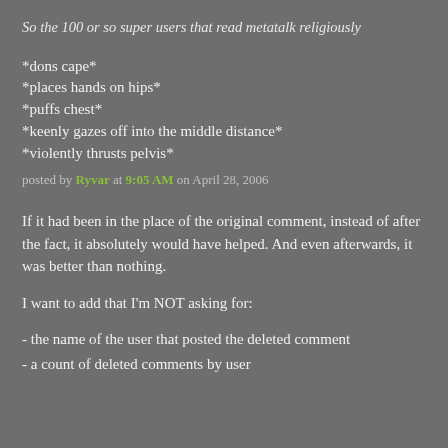So the 100 or so super users that read metatalk religiously
*dons cape*
*places hands on hips*
*puffs chest*
*keenly gazes off into the middle distance*
*violently thrusts pelvis*
posted by Ryvar at 9:05 AM on April 28, 2006
If it had been in the place of the original comment, instead of after the fact, it absolutely would have helped. And even afterwards, it was better than nothing.
I want to add that I'm NOT asking for:
- the name of the user that posted the deleted comment
- a count of deleted comments by user